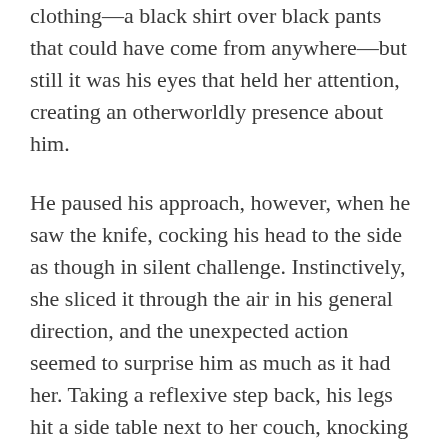clothing—a black shirt over black pants that could have come from anywhere—but still it was his eyes that held her attention, creating an otherworldly presence about him.
He paused his approach, however, when he saw the knife, cocking his head to the side as though in silent challenge. Instinctively, she sliced it through the air in his general direction, and the unexpected action seemed to surprise him as much as it had her. Taking a reflexive step back, his legs hit a side table next to her couch, knocking a lamp to the floor.
The orb ceased its laugher at the commotion.